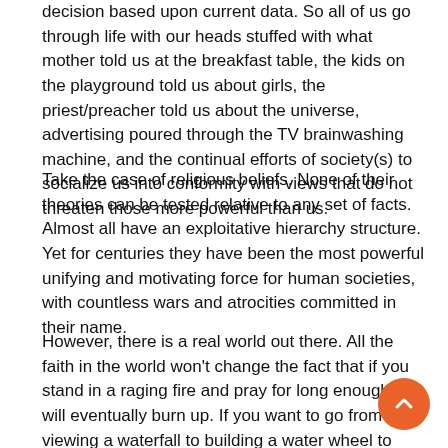decision based upon current data. So all of us go through life with our heads stuffed with what mother told us at the breakfast table, the kids on the playground told us about girls, the priest/preacher told us about the universe, advertising poured through the TV brainwashing machine, and the continual efforts of society(s) to socialize us into conformity with views that do not threaten those more powerful than us.
Take the case of religious beliefs. None of their theories can be tested relative to any set of facts. Almost all have an exploitative hierarchy structure. Yet for centuries they have been the most powerful unifying and motivating force for human societies, with countless wars and atrocities committed in their name.
However, there is a real world out there. All the faith in the world won't change the fact that if you stand in a raging fire and pray for long enough you will eventually burn up. If you want to go from viewing a waterfall to building a water wheel to grind grain, you have to understand core ideas like weight and force, the difference between a liquid and a solid, the geometry of a circle, and the properties of wood and metals. You may still believe that there is an old man up in the sky who watches your every move and will punish you if you don't tithe enough, but if you don't know the difference between wood and water...